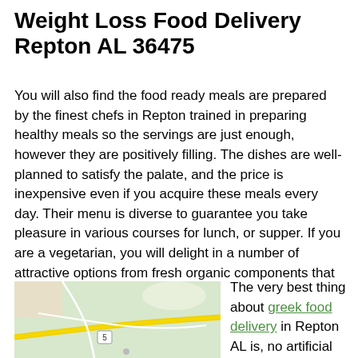Weight Loss Food Delivery Repton AL 36475
You will also find the food ready meals are prepared by the finest chefs in Repton trained in preparing healthy meals so the servings are just enough, however they are positively filling. The dishes are well-planned to satisfy the palate, and the price is inexpensive even if you acquire these meals every day. Their menu is diverse to guarantee you take pleasure in various courses for lunch, or supper. If you are a vegetarian, you will delight in a number of attractive options from fresh organic components that are much more secure and tastier.
[Figure (map): Map showing Repton AL area with roads and route 5 marked]
The very best thing about greek food delivery in Repton AL is, no artificial chemical is